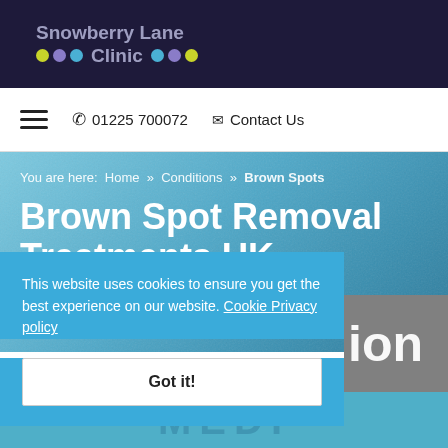Snowberry Lane Clinic
01225 700072   Contact Us
You are here: Home » Conditions » Brown Spots
Brown Spot Removal Treatments UK
This website uses cookies to ensure you get the best experience on our website. Cookie Privacy policy
Got it!
[Figure (screenshot): Partial text showing 'ion' visible behind cookie consent overlay, gray button area on right side]
MEDI